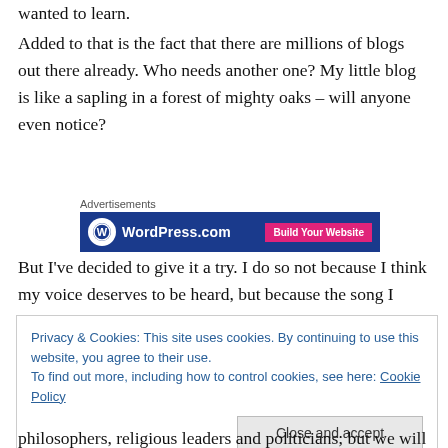wanted to learn.
Added to that is the fact that there are millions of blogs out there already. Who needs another one? My little blog is like a sapling in a forest of mighty oaks – will anyone even notice?
[Figure (screenshot): WordPress.com advertisement banner with blue background showing WordPress logo and 'Build Your Website' pink button, preceded by 'Advertisements' label]
But I've decided to give it a try. I do so not because I think my voice deserves to be heard, but because the song I
Privacy & Cookies: This site uses cookies. By continuing to use this website, you agree to their use.
To find out more, including how to control cookies, see here: Cookie Policy
Close and accept
philosophers, religious leaders and politicians; but we will